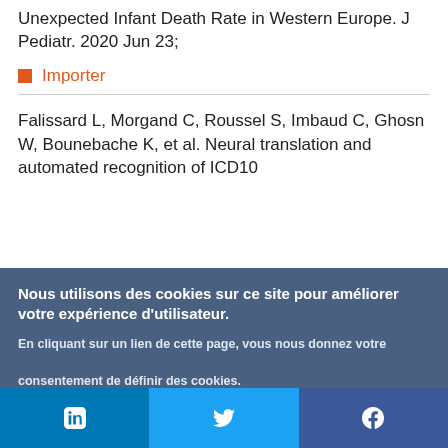Unexpected Infant Death Rate in Western Europe. J Pediatr. 2020 Jun 23;
Importer
Falissard L, Morgand C, Roussel S, Imbaud C, Ghosn W, Bounebache K, et al. Neural translation and automated recognition of ICD10
Nous utilisons des cookies sur ce site pour améliorer votre expérience d'utilisateur.

En cliquant sur un lien de cette page, vous nous donnez votre consentement de définir des cookies.
Oui, je suis d'accord
Plus d'infos
in  🐦  f